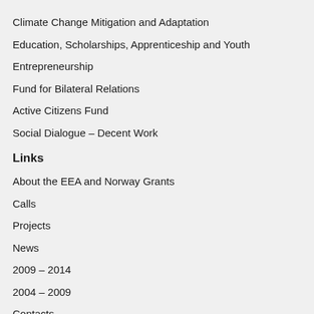Climate Change Mitigation and Adaptation
Education, Scholarships, Apprenticeship and Youth
Entrepreneurship
Fund for Bilateral Relations
Active Citizens Fund
Social Dialogue – Decent Work
Links
About the EEA and Norway Grants
Calls
Projects
News
2009 – 2014
2004 – 2009
Contacts